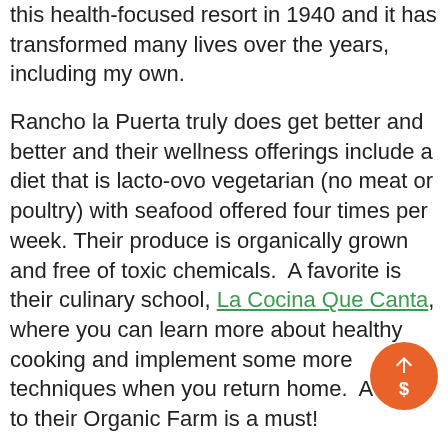this health-focused resort in 1940 and it has transformed many lives over the years, including my own.
Rancho la Puerta truly does get better and better and their wellness offerings include a diet that is lacto-ovo vegetarian (no meat or poultry) with seafood offered four times per week. Their produce is organically grown and free of toxic chemicals.  A favorite is their culinary school, La Cocina Que Canta, where you can learn more about healthy cooking and implement some more techniques when you return home.  A visit to their Organic Farm is a must!
Hiking is a draw for Rancho la Puerta along with a robust schedule of yoga, Pilates, meditation, fitness and nutrition classes.  Latin Dance and a number of art classes tap into your creativity, another benefit of a wellness resort and they have one of the best water programs of all wellness resorts combined.